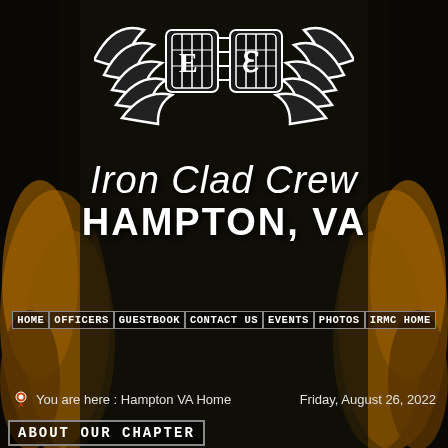[Figure (illustration): Iron Clad Crew logo with wings and chains on dark background with flame effect. Two stylized cage/helmet designs flanked by wings, with decorative chain border elements.]
Iron Clad Crew
HAMPTON, VA
[Figure (illustration): Decorative chain link border divider, white chain links on dark background]
HOME
OFFICERS
GUESTBOOK
CONTACT US
EVENTS
PHOTOS
IRMC HOME
[Figure (illustration): Decorative chain link border divider, white chain links on dark background]
You are here : Hampton VA Home
Friday, August 26, 2022
ABOUT OUR CHAPTER